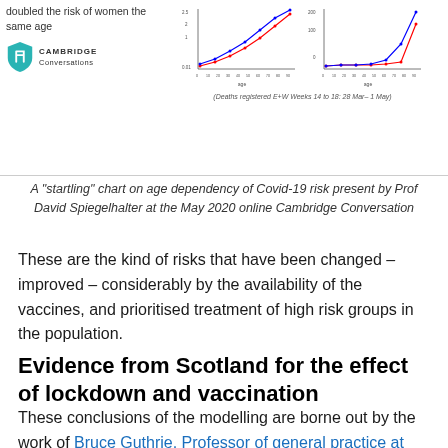doubled the risk of women the same age
[Figure (continuous-plot): Two small line charts showing Covid-19 risk by age. Left chart shows risk on a log scale for men (blue) and women (red) by age. Right chart shows deaths count by age for men (blue) and women (red). Both show exponential increase with age.]
(Deaths registered E+W Weeks 14 to 18: 28 Mar– 1 May)
A "startling" chart on age dependency of Covid-19 risk present by Prof David Spiegelhalter at the May 2020 online Cambridge Conversation
These are the kind of risks that have been changed – improved – considerably by the availability of the vaccines, and prioritised treatment of high risk groups in the population.
Evidence from Scotland for the effect of lockdown and vaccination
These conclusions of the modelling are borne out by the work of Bruce Guthrie, Professor of general practice at Edinburgh University, reported in the The Times on 25th